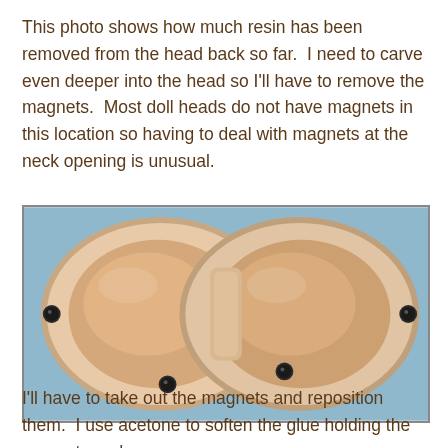This photo shows how much resin has been removed from the head back so far.  I need to carve even deeper into the head so I'll have to remove the magnets.  Most doll heads do not have magnets in this location so having to deal with magnets at the neck opening is unusual.
[Figure (photo): Two halves of a resin doll head viewed from the inside/back, placed side by side on a blue cloth background. Both halves show hollowed-out interiors (pinkish-peach color) with small round magnets visible at the neck opening edges.]
I'll have to take out the magnets and reposition them.  I use acetone to soften the glue holding the magnets and